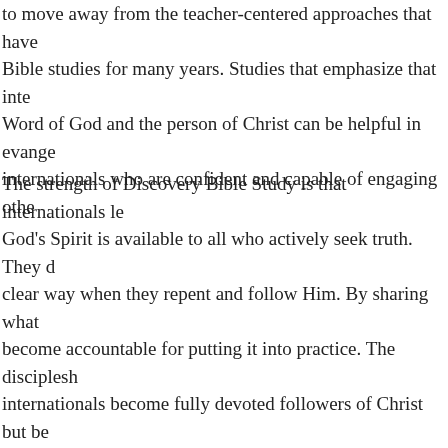to move away from the teacher-centered approaches that have Bible studies for many years.  Studies that emphasize that inte Word of God and the person of Christ can be helpful in evange internationals who are confident and capable of engaging othe
The strength of Discovery Bible Study is that internationals le God's Spirit is available to all who actively seek truth.  They d clear way when they repent and follow Him.  By sharing what become accountable for putting it into practice.  The disciplesh internationals become fully devoted followers of Christ but be God's Word.  In addition, they learn that simple obedience is n about who God is.  As international students practice here wha are given opportunities to facilitate the Bible discovery proces multiply when they return home.